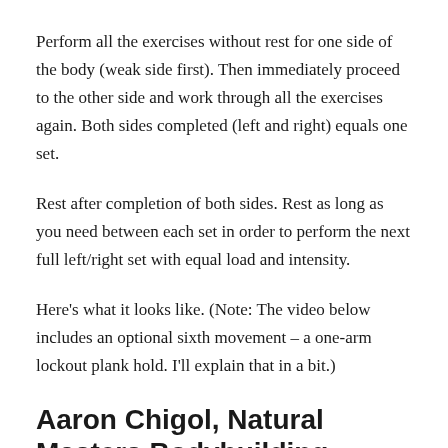Perform all the exercises without rest for one side of the body (weak side first). Then immediately proceed to the other side and work through all the exercises again. Both sides completed (left and right) equals one set.
Rest after completion of both sides. Rest as long as you need between each set in order to perform the next full left/right set with equal load and intensity.
Here’s what it looks like. (Note: The video below includes an optional sixth movement – a one-arm lockout plank hold. I’ll explain that in a bit.)
Aaron Chigol, Natural Masters Bodybuilding Champion